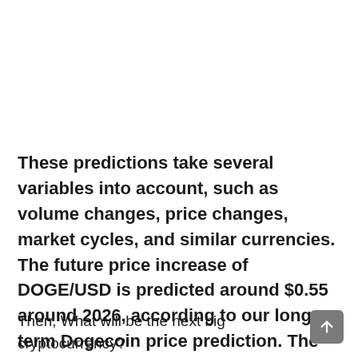These predictions take several variables into account, such as volume changes, price changes, market cycles, and similar currencies. The future price increase of DOGE/USD is predicted around $0.55 around 2026, according to our long-term Dogecoin price prediction. The maximum price estimated in next 5 years is $0.58.
Then, What will be the next big cryptocurrency?